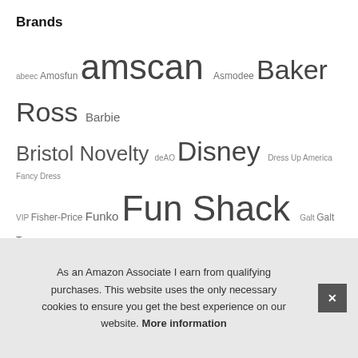Brands
abeec Amosfun amscan Asmodee Baker Ross Barbie Bristol Novelty deAO Disney Dress Up America Fancy Dress VIP Fisher-Price Funko Fun Shack Galt Galt Toys Generic Hasbro Hasbro Gaming HENBRANDT HOMCOM HOWAF I LOVE FANCY DRESS LTD Janly Clearance Sale Jaques of London KandyToys LeapFrog Learning Resources LEGO Mattel Games Melissa & Doug NUOBESTY Orchard Toys Ravensburger Rubie's Smiffys Talking Tables... Un... Co...
As an Amazon Associate I earn from qualifying purchases. This website uses the only necessary cookies to ensure you get the best experience on our website. More information